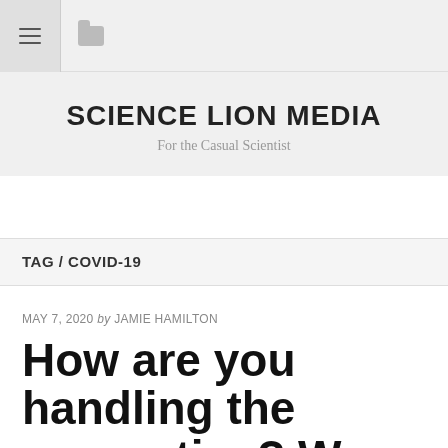SCIENCE LION MEDIA — For the Casual Scientist
TAG / COVID-19
MAY 7, 2020 by JAMIE HAMILTON
How are you handling the quarantine? We want to hear your